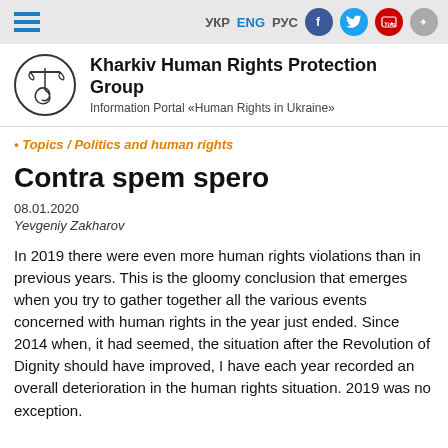УКР ENG РУС [social icons] [login]
[Figure (logo): Kharkiv Human Rights Protection Group logo — circular emblem with scales of justice and spiral motif]
Kharkiv Human Rights Protection Group — Information Portal «Human Rights in Ukraine»
• Topics / Politics and human rights
Contra spem spero
08.01.2020
Yevgeniy Zakharov
In 2019 there were even more human rights violations than in previous years. This is the gloomy conclusion that emerges when you try to gather together all the various events concerned with human rights in the year just ended. Since 2014 when, it had seemed, the situation after the Revolution of Dignity should have improved, I have each year recorded an overall deterioration in the human rights situation. 2019 was no exception.